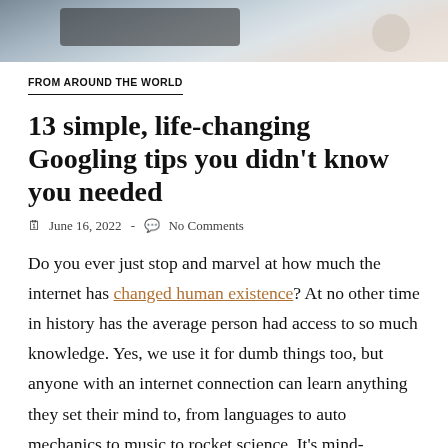[Figure (photo): Partial photo of a person using a laptop, top portion cropped, with a coffee cup visible in the background]
FROM AROUND THE WORLD
13 simple, life-changing Googling tips you didn't know you needed
June 16, 2022  -  No Comments
Do you ever just stop and marvel at how much the internet has changed human existence? At no other time in history has the average person had access to so much knowledge. Yes, we use it for dumb things too, but anyone with an internet connection can learn anything they set their mind to, from languages to auto mechanics to music to rocket science. It's mind-blowing.